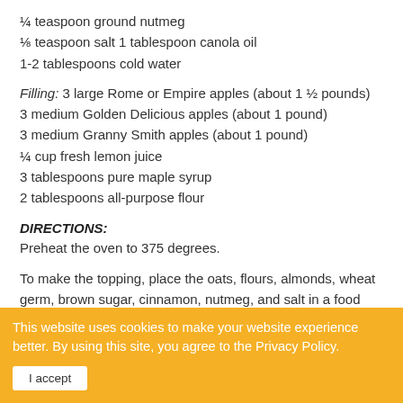¼ teaspoon ground nutmeg
⅛ teaspoon salt 1 tablespoon canola oil
1-2 tablespoons cold water
Filling: 3 large Rome or Empire apples (about 1 ½ pounds)
3 medium Golden Delicious apples (about 1 pound)
3 medium Granny Smith apples (about 1 pound)
¼ cup fresh lemon juice
3 tablespoons pure maple syrup
2 tablespoons all-purpose flour
DIRECTIONS:
Preheat the oven to 375 degrees.
To make the topping, place the oats, flours, almonds, wheat germ, brown sugar, cinnamon, nutmeg, and salt in a food processor and process until well combined.  Add the butter and oil and pulse until lumps form.  Add the water 1
This website uses cookies to make your website experience better. By using this site, you agree to the Privacy Policy.